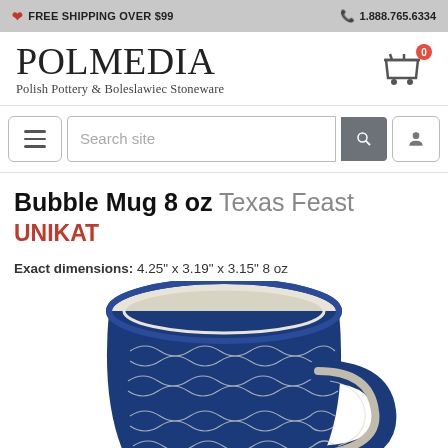FREE SHIPPING OVER $99  |  1.888.765.6334
[Figure (logo): POLMEDIA logo with tagline Polish Pottery & Boleslawiec Stoneware and shopping cart icon with badge 0]
[Figure (screenshot): Search site input bar with hamburger menu button, search button, and account button]
Bubble Mug 8 oz Texas Feast UNIKAT
Exact dimensions: 4.25" x 3.19" x 3.15" 8 oz
[Figure (photo): Blue and white Polish pottery bubble mug with floral/scroll pattern, viewed from above at an angle showing inside of mug]